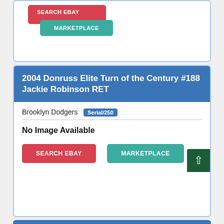[Figure (screenshot): Top portion of a card with a red SEARCH EBAY button and a teal MARKETPLACE button, partially visible at the top of the page.]
2004 Donruss Elite Turn of the Century #188 Jackie Robinson RET
Brooklyn Dodgers Serial/250
No Image Available
SEARCH EBAY
MARKETPLACE
[Figure (screenshot): Partial blue card header visible at the bottom of the page, beginning of next card entry.]